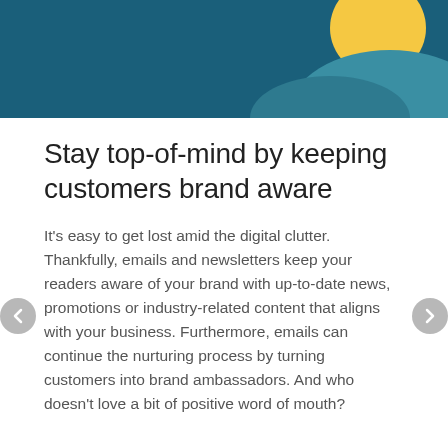[Figure (illustration): Decorative header illustration with dark teal/blue background, a yellow circle (sun) in the upper right, and teal mountain/hill shapes in the lower right area.]
Stay top-of-mind by keeping customers brand aware
It's easy to get lost amid the digital clutter. Thankfully, emails and newsletters keep your readers aware of your brand with up-to-date news, promotions or industry-related content that aligns with your business. Furthermore, emails can continue the nurturing process by turning customers into brand ambassadors. And who doesn't love a bit of positive word of mouth?